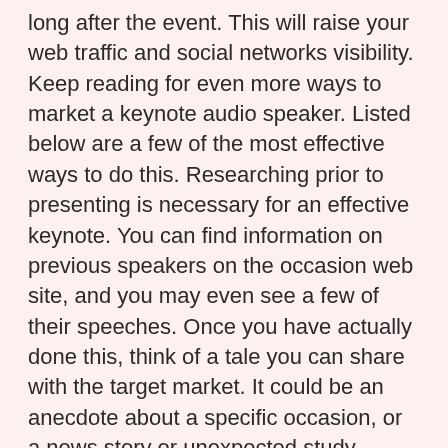long after the event. This will raise your web traffic and social networks visibility. Keep reading for even more ways to market a keynote audio speaker. Listed below are a few of the most effective ways to do this. Researching prior to presenting is necessary for an effective keynote. You can find information on previous speakers on the occasion web site, and you may even see a few of their speeches. Once you have actually done this, think of a tale you can share with the target market. It could be an anecdote about a specific occasion, or a news story or unexpected study result. Whatever the situation, ensure that your tale has among these top qualities. The personality of the keynote speaker matters. While some keynote audio speakers are specialist, some may have an individual design that can mesmerize an audience. Seek someone with the appropriate equilibrium of personality and energy. The ideal keynote audio speaker will certainly have the ability to set the state of